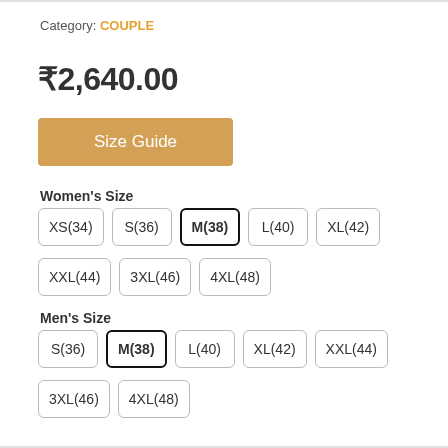Category: COUPLE
₹2,640.00
Size Guide
Women's Size
XS(34)
S(36)
M(38) [selected]
L(40)
XL(42)
XXL(44)
3XL(46)
4XL(48)
Men's Size
S(36)
M(38) [selected]
L(40)
XL(42)
XXL(44)
3XL(46)
4XL(48)